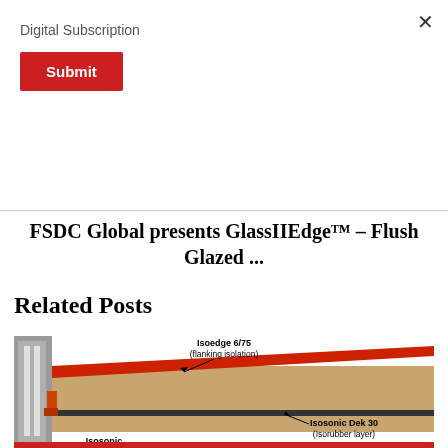Digital Subscription
Submit
× (close button)
FSDC Global presents GlassIIEdge™ – Flush Glazed ...
Related Posts
[Figure (engineering-diagram): Cross-section engineering diagram showing building floor layers with labels: Isoedge 6/75 (flanking isolation) in red, Isosonic Dek 30 (Isorubber layer), and Isosonic, showing concrete slab, wooden panels, and isolation layers with arrows pointing to components.]